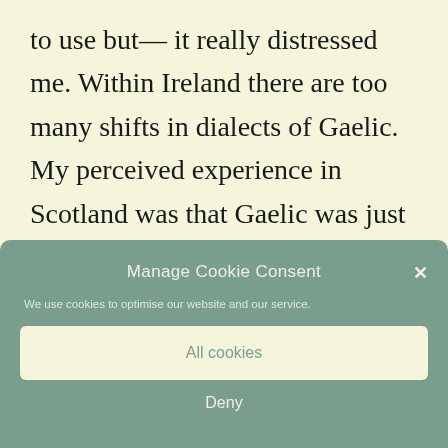to use but— it really distressed me. Within Ireland there are too many shifts in dialects of Gaelic. My perceived experience in Scotland was that Gaelic was just all one dialect. At least that's how it felt to me. I would Love it if there was a distinct Gaelic for all of Ireland. It's difficult for learners to
Manage Cookie Consent
We use cookies to optimise our website and our service.
All cookies
Deny